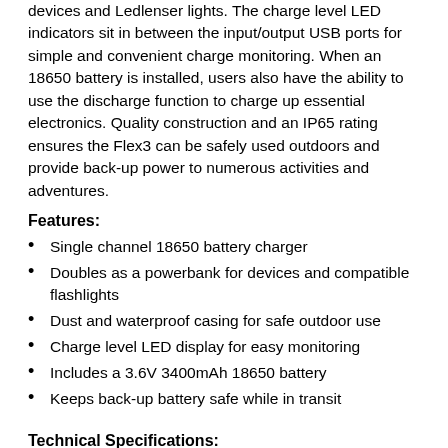devices and Ledlenser lights. The charge level LED indicators sit in between the input/output USB ports for simple and convenient charge monitoring. When an 18650 battery is installed, users also have the ability to use the discharge function to charge up essential electronics. Quality construction and an IP65 rating ensures the Flex3 can be safely used outdoors and provide back-up power to numerous activities and adventures.
Features:
Single channel 18650 battery charger
Doubles as a powerbank for devices and compatible flashlights
Dust and waterproof casing for safe outdoor use
Charge level LED display for easy monitoring
Includes a 3.6V 3400mAh 18650 battery
Keeps back-up battery safe while in transit
Technical Specifications:
Number of Channels: 1
Display Screen or Indicators: LED Indicator